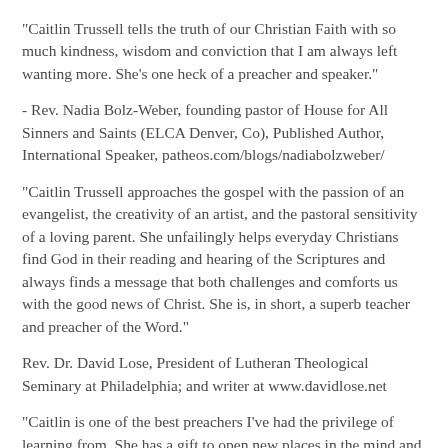"Caitlin Trussell tells the truth of our Christian Faith with so much kindness, wisdom and conviction that I am always left wanting more. She's one heck of a preacher and speaker."
- Rev. Nadia Bolz-Weber, founding pastor of House for All Sinners and Saints (ELCA Denver, Co), Published Author, International Speaker, patheos.com/blogs/nadiabolzweber/
"Caitlin Trussell approaches the gospel with the passion of an evangelist, the creativity of an artist, and the pastoral sensitivity of a loving parent. She unfailingly helps everyday Christians find God in their reading and hearing of the Scriptures and always finds a message that both challenges and comforts us with the good news of Christ. She is, in short, a superb teacher and preacher of the Word."
Rev. Dr. David Lose, President of Lutheran Theological Seminary at Philadelphia; and writer at www.davidlose.net
"Caitlin is one of the best preachers I've had the privilege of learning from. She has a gift to open new places in the mind and heart – for audiences new to the message of God's love, and for "old hands" like me as well! With her breadth of experience – raising kids, nursing ...